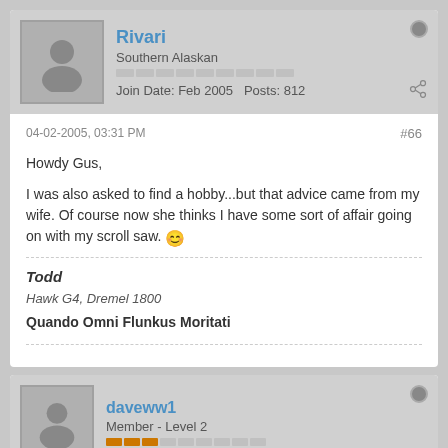Rivari
Southern Alaskan
Join Date: Feb 2005   Posts: 812
04-02-2005, 03:31 PM
#66
Howdy Gus,

I was also asked to find a hobby...but that advice came from my wife. Of course now she thinks I have some sort of affair going on with my scroll saw. 😊
Todd
Hawk G4, Dremel 1800
Quando Omni Flunkus Moritati
daveww1
Member - Level 2